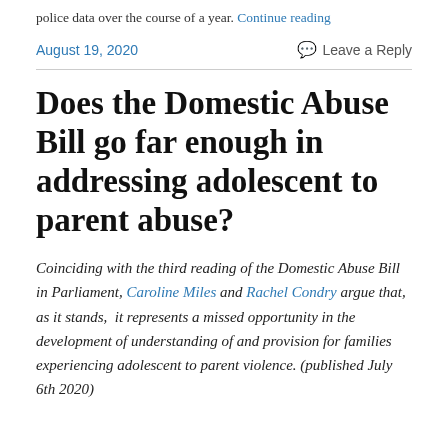police data over the course of a year. Continue reading
August 19, 2020    Leave a Reply
Does the Domestic Abuse Bill go far enough in addressing adolescent to parent abuse?
Coinciding with the third reading of the Domestic Abuse Bill in Parliament, Caroline Miles and Rachel Condry argue that, as it stands, it represents a missed opportunity in the development of understanding of and provision for families experiencing adolescent to parent violence. (published July 6th 2020)